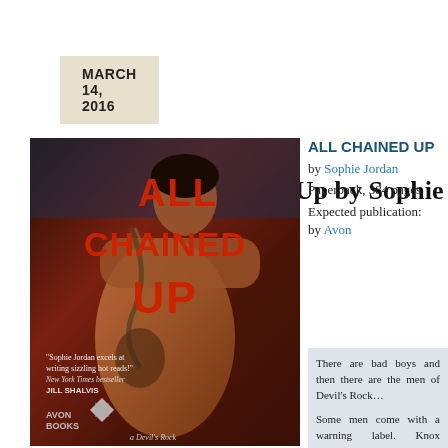MARCH 14, 2016
Review: All Chained Up by Sophie Jo
[Figure (photo): Book cover of 'All Chained Up' by Sophie Jordan — published by Avon Books, a Devil's Rock novel. Cover shows a muscular man with chains and tattoos against a dark red background with bold red title text. Includes blurb: 'Sophie Jordan excels at writing sizzling hot reads!' New York Times bestseller JILL SHALVIS.]
ALL CHAINED UP
by Sophie Jordan
Paperback, 384 pages
Expected publication:
by Avon
There are bad boys and then there are the men of Devil's Rock…

Some men come with a warning label. Knox Callaghan…
Danger radiates from…